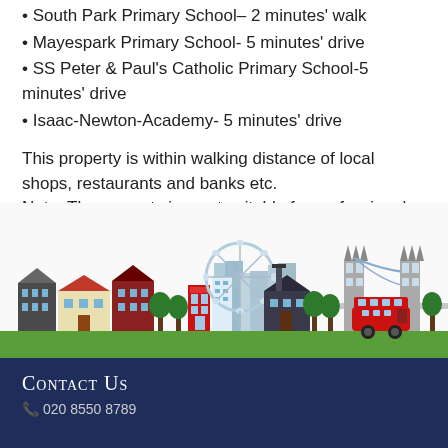South Park Primary School– 2 minutes' walk
Mayespark Primary School- 5 minutes' drive
SS Peter & Paul's Catholic Primary School-5 minutes' drive
Isaac-Newton-Academy- 5 minutes' drive
This property is within walking distance of local shops, restaurants and banks etc.
Note: The property is most suitable for professionals.
What are you still waiting for?? Call us immediately before it's too late!!!!!
[Figure (illustration): London skyline illustration showing buildings, Ferris wheel (London Eye), Big Ben, Tower Bridge, a red telephone box, red double-decker bus, and trees in a flat cartoon style]
Contact Us
020 8550 8789